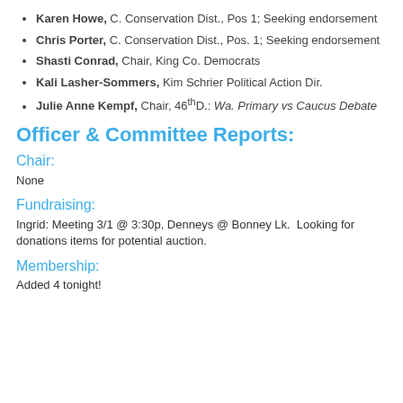Karen Howe, C. Conservation Dist., Pos 1; Seeking endorsement
Chris Porter, C. Conservation Dist., Pos. 1; Seeking endorsement
Shasti Conrad, Chair, King Co. Democrats
Kali Lasher-Sommers, Kim Schrier Political Action Dir.
Julie Anne Kempf, Chair, 46th D.: Wa. Primary vs Caucus Debate
Officer & Committee Reports:
Chair:
None
Fundraising:
Ingrid: Meeting 3/1 @ 3:30p, Denneys @ Bonney Lk.  Looking for donations items for potential auction.
Membership:
Added 4 tonight!